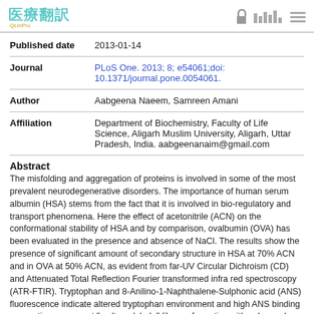医療翻訳 QLinPro
| Field | Value |
| --- | --- |
| Published date | 2013-01-14 |
| Journal | PLoS One. 2013; 8; e54061;doi: 10.1371/journal.pone.0054061. |
| Author | Aabgeena Naeem, Samreen Amani |
| Affiliation | Department of Biochemistry, Faculty of Life Science, Aligarh Muslim University, Aligarh, Uttar Pradesh, India. aabgeenanaim@gmail.com |
Abstract
The misfolding and aggregation of proteins is involved in some of the most prevalent neurodegenerative disorders. The importance of human serum albumin (HSA) stems from the fact that it is involved in bio-regulatory and transport phenomena. Here the effect of acetonitrile (ACN) on the conformational stability of HSA and by comparison, ovalbumin (OVA) has been evaluated in the presence and absence of NaCl. The results show the presence of significant amount of secondary structure in HSA at 70% ACN and in OVA at 50% ACN, as evident from far-UV Circular Dichroism (CD) and Attenuated Total Reflection Fourier transformed infra red spectroscopy (ATR-FTIR). Tryptophan and 8-Anilino-1-Naphthalene-Sulphonic acid (ANS) fluorescence indicate altered tryptophan environment and high ANS binding suggesting a compact "molten globule"-like conformation with enhanced exposure of hydrophobic surface area. However, in presence of NaCl no intermediate state was observed. Detection of aggregates in HSA and OVA was possible at 90% ACN. Aggregates possess